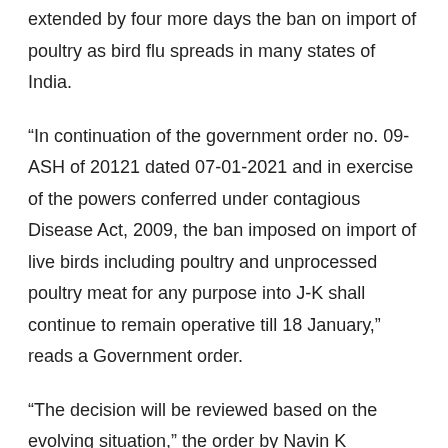extended by four more days the ban on import of poultry as bird flu spreads in many states of India.
“In continuation of the government order no. 09-ASH of 20121 dated 07-01-2021 and in exercise of the powers conferred under contagious Disease Act, 2009, the ban imposed on import of live birds including poultry and unprocessed poultry meat for any purpose into J-K shall continue to remain operative till 18 January,” reads a Government order.
“The decision will be reviewed based on the evolving situation,” the order by Navin K Choudhary, Principal Secretary to Government, added.